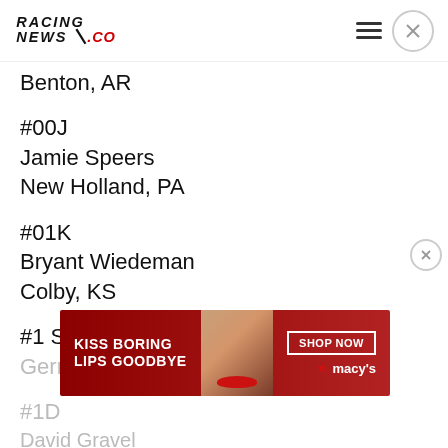RacingNews.co
Benton, AR
#00J
Jamie Speers
New Holland, PA
#01K
Bryant Wiedeman
Colby, KS
#1 Sammy Swindell
Germantown, TN
#1D
David Gravel
[Figure (infographic): Advertisement banner: KISS BORING LIPS GOODBYE — SHOP NOW — macys star logo]